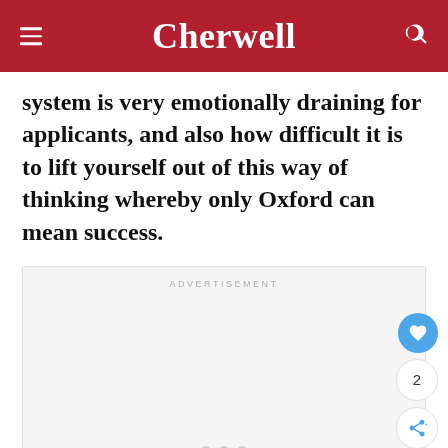Cherwell
system is very emotionally draining for applicants, and also how difficult it is to lift yourself out of this way of thinking whereby only Oxford can mean success.
[Figure (other): Advertisement placeholder box with 'ADVERTISEMENT' label and three pagination dots at bottom]
[Figure (other): Floating action buttons: heart/like button (blue circle), count of 2, and share button]